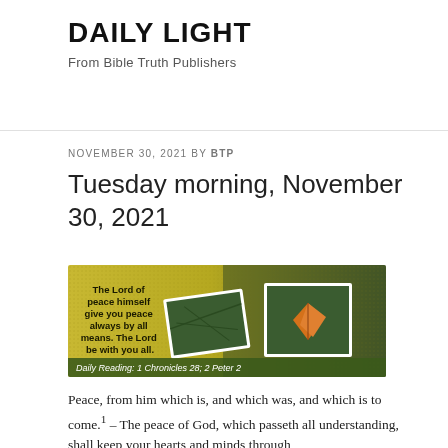DAILY LIGHT
From Bible Truth Publishers
NOVEMBER 30, 2021 BY BTP
Tuesday morning, November 30, 2021
[Figure (illustration): Decorative banner image with yellow/green background showing two overlapping photo frames of pine branches and an orange autumn leaf. Text reads: The Lord of peace himself give you peace always by all means. The Lord be with you all. Daily Reading: 1 Chronicles 28; 2 Peter 2]
Peace, from him which is, and which was, and which is to come.¹ – The peace of God, which passeth all understanding, shall keep your hearts and minds through